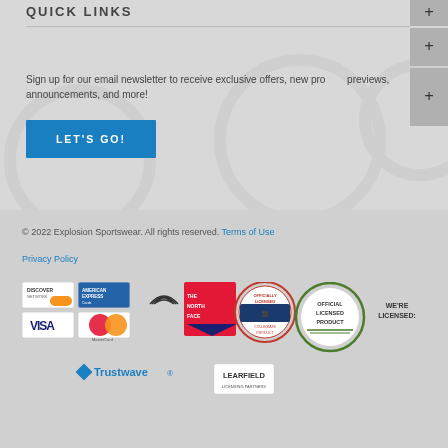QUICK LINKS
Sign up for our email newsletter to receive exclusive offers, new product previews, announcements, and more!
LET'S GO!
© 2022 Explosion Sportswear. All rights reserved. Terms of Use
Privacy Policy
[Figure (logo): Payment method logos: Discover, American Express, Visa, MasterCard; Under Armour logo; The North Face logo; Officially Licensed Collegiate Product badge; Official Licensed Product seal; We're Licensed text; Trustwave logo; Learfield Licensing Partners logo]